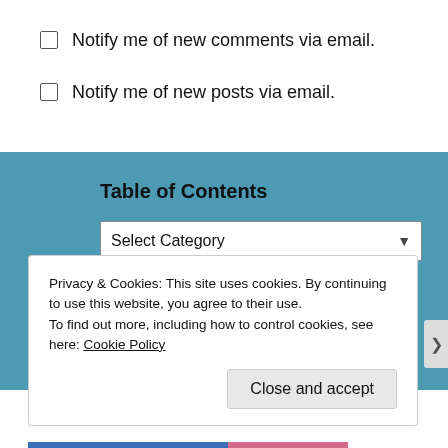Notify me of new comments via email.
Notify me of new posts via email.
Table of Contents
[Figure (screenshot): Select Category dropdown widget]
Privacy & Cookies: This site uses cookies. By continuing to use this website, you agree to their use.
To find out more, including how to control cookies, see here: Cookie Policy
Close and accept